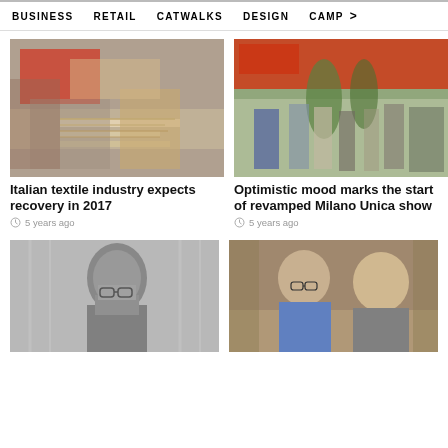BUSINESS   RETAIL   CATWALKS   DESIGN   CAMP  >
[Figure (photo): Close-up of textile fabric swatches and samples arranged on a table, showing various patterns and textures]
Italian textile industry expects recovery in 2017
5 years ago
[Figure (photo): People walking through a trade show hall with palm trees and signage, viewed from behind]
Optimistic mood marks the start of revamped Milano Unica show
5 years ago
[Figure (photo): Black and white portrait of a man with glasses and beard looking to the side]
[Figure (photo): Two men in suits smiling, photographed at an event in an ornate interior]